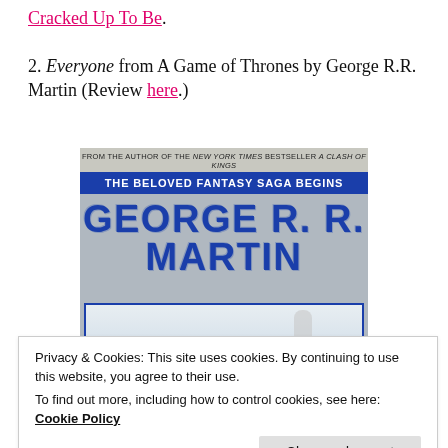Cracked Up To Be.
2. Everyone from A Game of Thrones by George R.R. Martin (Review here.)
[Figure (photo): Book cover of A Game of Thrones by George R.R. Martin. Shows 'FROM THE AUTHOR OF THE NEW YORK TIMES BESTSELLER A CLASH OF KINGS' at top, 'THE BELOVED FANTASY SAGA BEGINS' in a blue banner, author name GEORGE R. R. MARTIN in large blue letters, a winter scene with a figure and a bird, and partial title text at the bottom.]
Privacy & Cookies: This site uses cookies. By continuing to use this website, you agree to their use.
To find out more, including how to control cookies, see here:
Cookie Policy
Close and accept